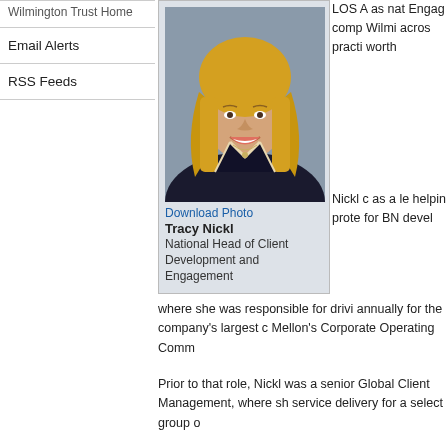Wilmington Trust Home
Email Alerts
RSS Feeds
[Figure (photo): Professional headshot of Tracy Nickl, a blonde woman in dark jacket with white trim, smiling]
Download Photo
Tracy Nickl
National Head of Client Development and Engagement
LOS A as nat Engag comp Wilmi acros practi worth
Nickl c as a le helpin prote for BN deve where she was responsible for drivi annually for the company's largest c Mellon's Corporate Operating Comm
Prior to that role, Nickl was a senior Global Client Management, where sh service delivery for a select group o